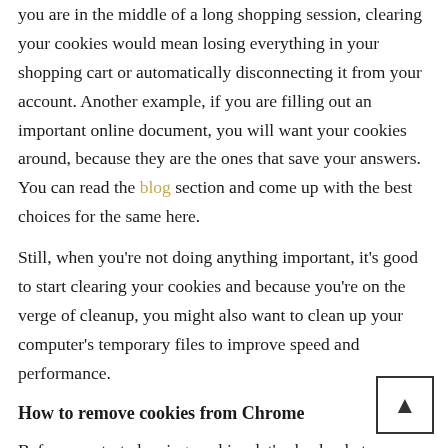you are in the middle of a long shopping session, clearing your cookies would mean losing everything in your shopping cart or automatically disconnecting it from your account. Another example, if you are filling out an important online document, you will want your cookies around, because they are the ones that save your answers. You can read the blog section and come up with the best choices for the same here.
Still, when you're not doing anything important, it's good to start clearing your cookies and because you're on the verge of cleanup, you might also want to clean up your computer's temporary files to improve speed and performance.
How to remove cookies from Chrome
Before we start cleaning cookies, let's check what our options are. Google Chrome comes with a small Cookie Settings page where you can decide exactly what types of cookies you want to destroy. So let's visit this p first.